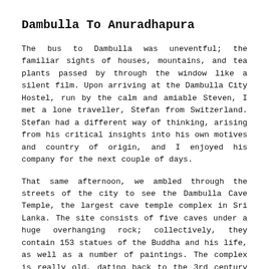Dambulla To Anuradhapura
The bus to Dambulla was uneventful; the familiar sights of houses, mountains, and tea plants passed by through the window like a silent film. Upon arriving at the Dambulla City Hostel, run by the calm and amiable Steven, I met a lone traveller, Stefan from Switzerland. Stefan had a different way of thinking, arising from his critical insights into his own motives and country of origin, and I enjoyed his company for the next couple of days.
That same afternoon, we ambled through the streets of the city to see the Dambulla Cave Temple, the largest cave temple complex in Sri Lanka. The site consists of five caves under a huge overhanging rock; collectively, they contain 153 statues of the Buddha and his life, as well as a number of paintings. The complex is really old, dating back to the 3rd century BC. The heat was sweltering outside and so it was nice to get into the caves and gaze at a few more statues of the Buddha while swallowed by the cool darkness.
As Stefan and I relaxed in the hostel that evening, another